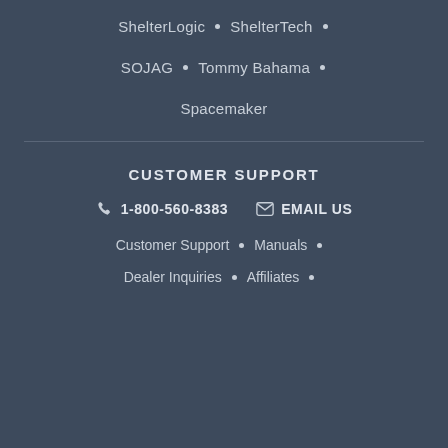ShelterLogic • ShelterTech •
SOJAG • Tommy Bahama •
Spacemaker
CUSTOMER SUPPORT
1-800-560-8383   EMAIL US
Customer Support • Manuals •
Dealer Inquiries • Affiliates •